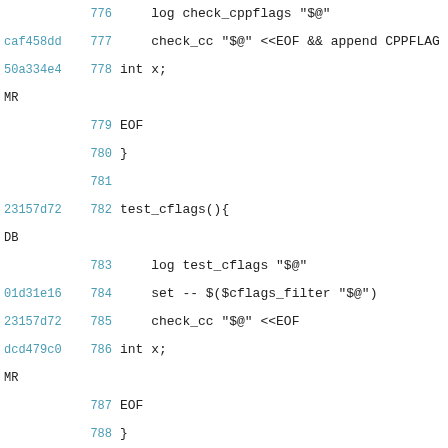776  log check_cppflags "$@"
caf458dd  777      check_cc "$@" <<EOF && append CPPFLAG
50a334e4 MR  778  int x;
779  EOF
780  }
781
23157d72 DB  782  test_cflags(){
783      log test_cflags "$@"
01d31e16  784      set -- $($cflags_filter "$@")
23157d72  785      check_cc "$@" <<EOF
dcd479c0 MR  786  int x;
787  EOF
788  }
789
23157d72 DB  790  check_cflags(){
791      log check_cflags "$@"